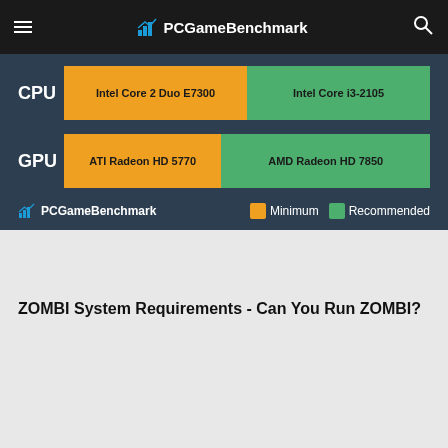PCGameBenchmark
[Figure (bar-chart): CPU and GPU System Requirements]
ZOMBI System Requirements - Can You Run ZOMBI?